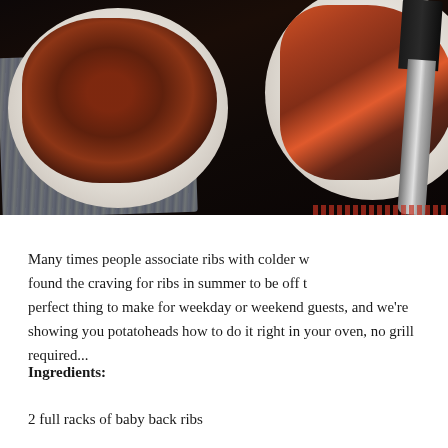[Figure (photo): Overhead food photography showing two white plates with BBQ/glazed pork ribs on a dark wooden surface. Left plate has a full rack of dark sauced ribs on a grey cloth napkin. Right plate has individual glazed rib pieces. A large knife is visible in the upper right corner.]
Many times people associate ribs with colder w found the craving for ribs in summer to be off t perfect thing to make for weekday or weekend guests, and we're showing you potatoheads how to do it right in your oven, no grill required...
Ingredients:
2 full racks of baby back ribs